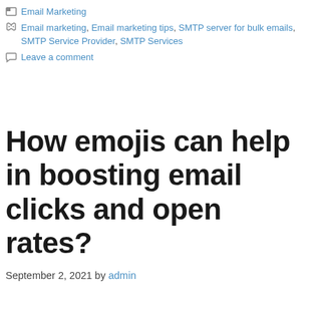Email Marketing
Email marketing, Email marketing tips, SMTP server for bulk emails, SMTP Service Provider, SMTP Services
Leave a comment
How emojis can help in boosting email clicks and open rates?
September 2, 2021 by admin